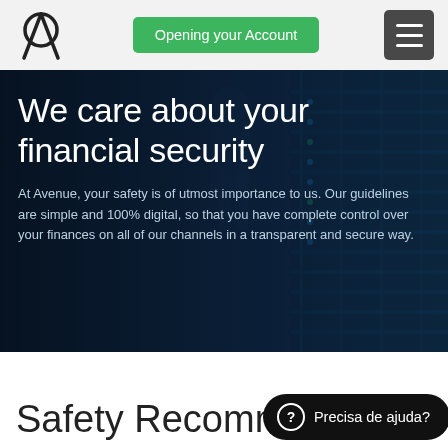Opening your Account
[Figure (screenshot): Hero banner with dark blue server room background. Large text reads 'We care about your financial security'. Below is a paragraph: 'At Avenue, your safety is of utmost importance to us. Our guidelines are simple and 100% digital, so that you have complete control over your finances on all of our channels in a transparent and secure way.']
Safety Recomm
Precisa de ajuda?